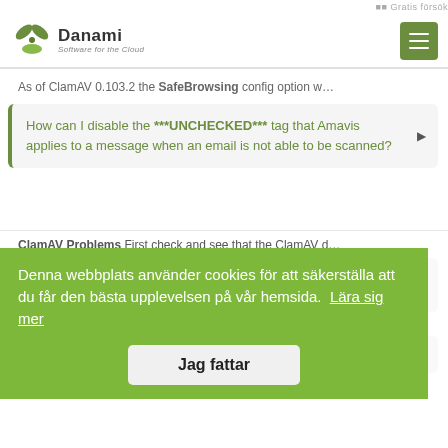Danami Software for the Cloud — Gratis försök
As of ClamAV 0.103.2 the SafeBrowsing config option w…
How can I disable the ***UNCHECKED*** tag that Amavis applies to a message when an email is not able to be scanned?
ClamAV Problems First check and see that the ClamAV d…
How can I fix the error milter-reject: DATA 451 4.7.1 Service unavailable - try again later?
Reject log In the Warden reject log you see the message…
How can I disable Amavis bad header tests?
Denna webbplats använder cookies för att säkerställa att du får den bästa upplevelsen på vår hemsida. Lära sig mer
Jag fattar